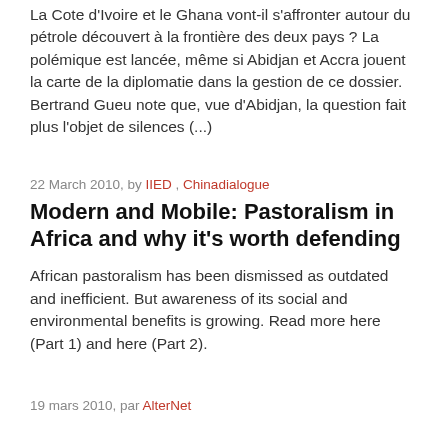La Cote d'Ivoire et le Ghana vont-il s'affronter autour du pétrole découvert à la frontière des deux pays ? La polémique est lancée, même si Abidjan et Accra jouent la carte de la diplomatie dans la gestion de ce dossier. Bertrand Gueu note que, vue d'Abidjan, la question fait plus l'objet de silences (...)
22 March 2010, by IIED , Chinadialogue
Modern and Mobile: Pastoralism in Africa and why it's worth defending
African pastoralism has been dismissed as outdated and inefficient. But awareness of its social and environmental benefits is growing. Read more here (Part 1) and here (Part 2).
19 mars 2010, par AlterNet